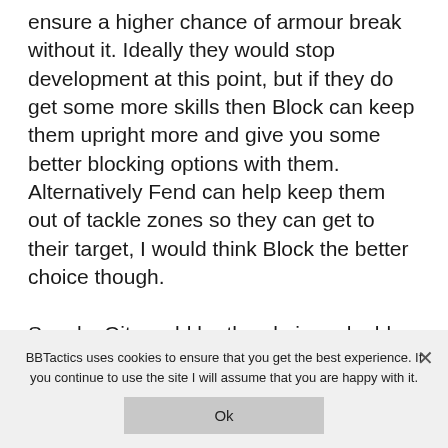ensure a higher chance of armour break without it. Ideally they would stop development at this point, but if they do get some more skills then Block can keep them upright more and give you some better blocking options with them. Alternatively Fend can help keep them out of tackle zones so they can get to their target, I would think Block the better choice though.

Sneaky Git would be the obvious double so you can happily foul away during turns you can't get a suitable number of fouling assists
BBTactics uses cookies to ensure that you get the best experience. If you continue to use the site I will assume that you are happy with it.
Ok